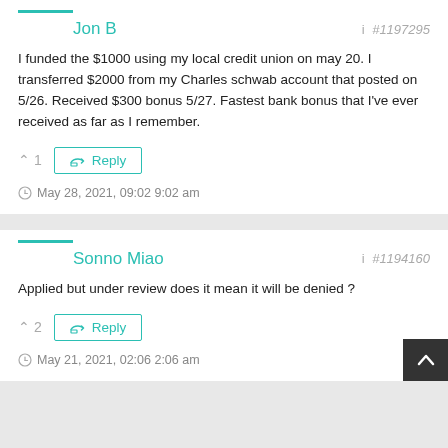Jon B
#1197295
I funded the $1000 using my local credit union on may 20. I transferred $2000 from my Charles schwab account that posted on 5/26. Received $300 bonus 5/27. Fastest bank bonus that I've ever received as far as I remember.
^ 1   Reply
May 28, 2021, 09:02 9:02 am
Sonno Miao
#1194160
Applied but under review does it mean it will be denied ?
^ 2   Reply
May 21, 2021, 02:06 2:06 am